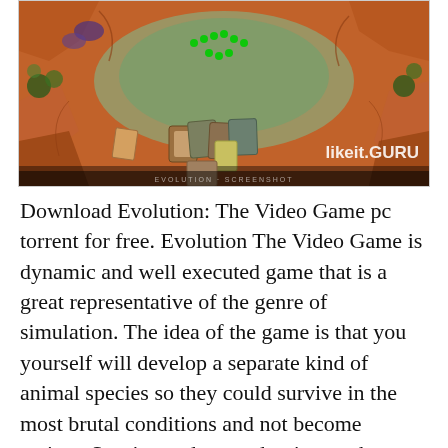[Figure (screenshot): Screenshot from Evolution: The Video Game showing a top-down view of a game map with orange terrain, green vegetation markers, and strategic game pieces. A watermark reading 'likeit.GURU' appears in the bottom right corner.]
Download Evolution: The Video Game pc torrent for free. Evolution The Video Game is dynamic and well executed game that is a great representative of the genre of simulation. The idea of the game is that you yourself will develop a separate kind of animal species so they could survive in the most brutal conditions and not become extinct. Survive and try to dominate other species, destroy your opponents and come to the tops of the food chain. Go also to the study of the environment to get the